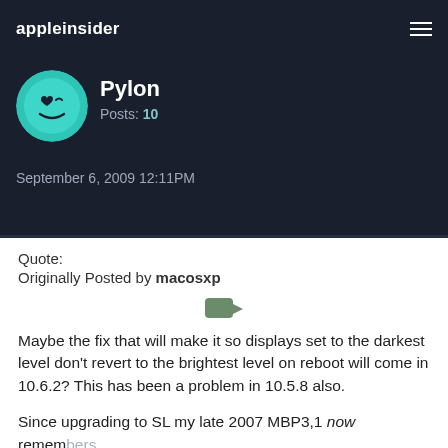appleinsider
Pylon
Posts: 10
September 6, 2009 12:11PM
Quote:
Originally Posted by macosxp
[Figure (other): Quote/reply icon arrow pointing right]
Maybe the fix that will make it so displays set to the darkest level don't revert to the brightest level on reboot will come in 10.6.2? This has been a problem in 10.5.8 also.
Since upgrading to SL my late 2007 MBP3,1 now remembers the brightness level I previously had when I reboot. My newer iMac9,1 with Radeon HD 4850 didn't remember before the